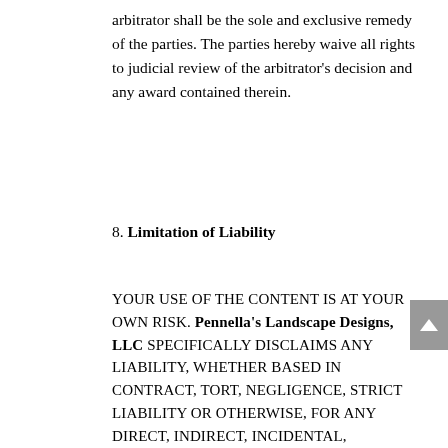arbitrator shall be the sole and exclusive remedy of the parties. The parties hereby waive all rights to judicial review of the arbitrator's decision and any award contained therein.
8. Limitation of Liability
YOUR USE OF THE CONTENT IS AT YOUR OWN RISK. Pennella's Landscape Designs, LLC SPECIFICALLY DISCLAIMS ANY LIABILITY, WHETHER BASED IN CONTRACT, TORT, NEGLIGENCE, STRICT LIABILITY OR OTHERWISE, FOR ANY DIRECT, INDIRECT, INCIDENTAL, PUNITIVE, CONSEQUENTIAL, OR SPECIAL DAMAGES ARISING OUT OF OR IN ANY WAY CONNECTED WITH ACCESS TO, USE OF OR RELIANCE ON THE CONTENT (EVEN IF Pennella's Landscape Designs, LLC HAS BEEN ADVISED OF THE POSSIBILITY OF SUCH DAMAGES) OR THAT ARISE IN CONNECTION WITH MISTAKES OR